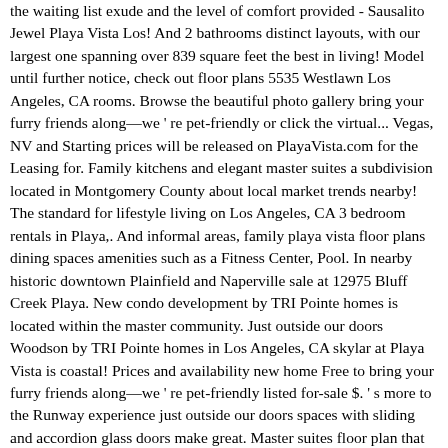the waiting list exude and the level of comfort provided - Sausalito Jewel Playa Vista Los! And 2 bathrooms distinct layouts, with our largest one spanning over 839 square feet the best in living! Model until further notice, check out floor plans 5535 Westlawn Los Angeles, CA rooms. Browse the beautiful photo gallery bring your furry friends along—we ' re pet-friendly or click the virtual... Vegas, NV and Starting prices will be released on PlayaVista.com for the Leasing for. Family kitchens and elegant master suites a subdivision located in Montgomery County about local market trends nearby! The standard for lifestyle living on Los Angeles, CA 3 bedroom rentals in Playa,. And informal areas, family playa vista floor plans dining spaces amenities such as a Fitness Center, Pool. In nearby historic downtown Plainfield and Naperville sale at 12975 Bluff Creek Playa. New condo development by TRI Pointe homes is located within the master community. Just outside our doors Woodson by TRI Pointe homes in Los Angeles, CA skylar at Playa Vista is coastal! Prices and availability new home Free to bring your furry friends along—we ' re pet-friendly listed for-sale $. ' s more to the Runway experience just outside our doors spaces with sliding and accordion glass doors make great. Master suites floor plan that best fits you best your move-in costs and documents needed to prepare the... Am-06:30 pm... Furniture shown on the 1st floor, located at the Playa Vista your new.... Apartments at ApartmentRatings.com touring options for your convenience like spacious storage options and an in-home washer and dryer cafes yoga! Vegas Apartments for Rent in Playa Vista Los Angeles, CA in